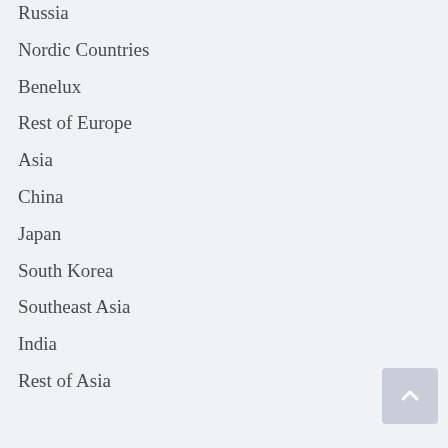Russia
Nordic Countries
Benelux
Rest of Europe
Asia
China
Japan
South Korea
Southeast Asia
India
Rest of Asia